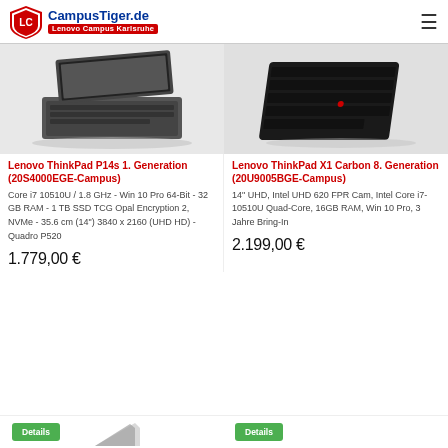CampusTiger.de – Lenovo Campus Karlsruhe
[Figure (photo): Lenovo ThinkPad P14s laptop photo – open, angled view from left]
[Figure (photo): Lenovo ThinkPad X1 Carbon laptop photo – angled view from above showing keyboard]
Lenovo ThinkPad P14s 1. Generation (20S4000EGE-Campus)
Lenovo ThinkPad X1 Carbon 8. Generation (20U9005BGE-Campus)
Core i7 10510U / 1.8 GHz - Win 10 Pro 64-Bit - 32 GB RAM - 1 TB SSD TCG Opal Encryption 2, NVMe - 35.6 cm (14") 3840 x 2160 (UHD HD) - Quadro P520
14" UHD, Intel UHD 620 FPR Cam, Intel Core i7-10510U Quad-Core, 16GB RAM, Win 10 Pro, 3 Jahre Bring-In
1.779,00 €
2.199,00 €